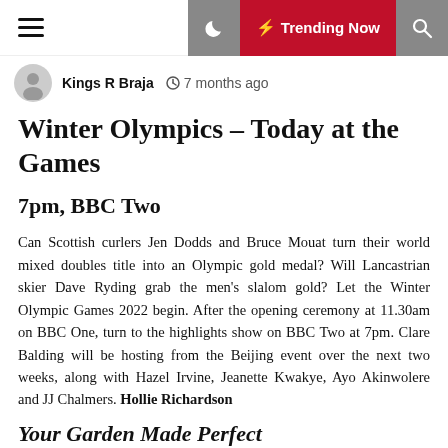Kings R Braja  7 months ago
Winter Olympics – Today at the Games
7pm, BBC Two
Can Scottish curlers Jen Dodds and Bruce Mouat turn their world mixed doubles title into an Olympic gold medal? Will Lancastrian skier Dave Ryding grab the men's slalom gold? Let the Winter Olympic Games 2022 begin. After the opening ceremony at 11.30am on BBC One, turn to the highlights show on BBC Two at 7pm. Clare Balding will be hosting from the Beijing event over the next two weeks, along with Hazel Irvine, Jeanette Kwakye, Ayo Akinwolere and JJ Chalmers. Hollie Richardson
Your Garden Made Perfect